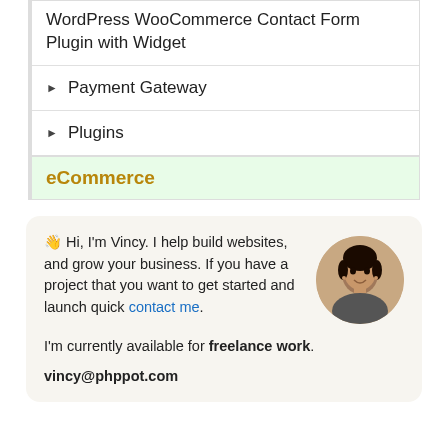WordPress WooCommerce Contact Form Plugin with Widget
Payment Gateway
Plugins
eCommerce
👋 Hi, I'm Vincy. I help build websites, and grow your business. If you have a project that you want to get started and launch quick contact me.

I'm currently available for freelance work.

vincy@phppot.com